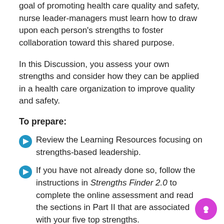goal of promoting health care quality and safety, nurse leader-managers must learn how to draw upon each person's strengths to foster collaboration toward this shared purpose.
In this Discussion, you assess your own strengths and consider how they can be applied in a health care organization to improve quality and safety.
To prepare:
Review the Learning Resources focusing on strengths-based leadership.
If you have not already done so, follow the instructions in Strengths Finder 2.0 to complete the online assessment and read the sections in Part II that are associated with your five top strengths.